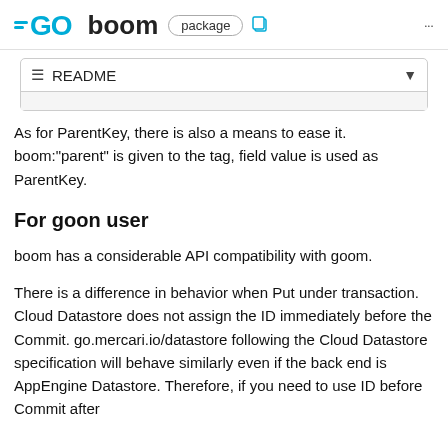GO boom package
[Figure (screenshot): README dropdown/selector bar with a light gray content area below it]
As for ParentKey, there is also a means to ease it. boom:"parent" is given to the tag, field value is used as ParentKey.
For goon user
boom has a considerable API compatibility with goom.
There is a difference in behavior when Put under transaction. Cloud Datastore does not assign the ID immediately before the Commit. go.mercari.io/datastore following the Cloud Datastore specification will behave similarly even if the back end is AppEngine Datastore. Therefore, if you need to use ID before Commit after